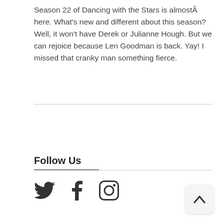Season 22 of Dancing with the Stars is almostÂ here. What’s new and different about this season? Well, it won’t have Derek or Julianne Hough. But we can rejoice because Len Goodman is back. Yay! I missed that cranky man something fierce.
Follow Us
[Figure (illustration): Social media icons: Twitter bird, Facebook f, and Instagram camera icons displayed in a row]